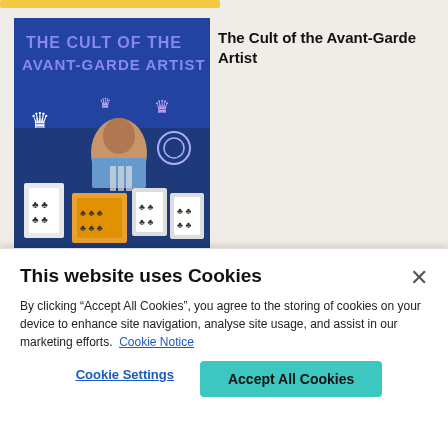[Figure (illustration): Book cover for 'The Cult of the Avant-Garde Artist' showing a colorful painting with a person, playing cards, crowns, and graffiti-style elements in blue, orange, and white tones.]
The Cult of the Avant-Garde Artist
This website uses Cookies
By clicking “Accept All Cookies”, you agree to the storing of cookies on your device to enhance site navigation, analyse site usage, and assist in our marketing efforts. Cookie Notice
Cookie Settings
Accept All Cookies